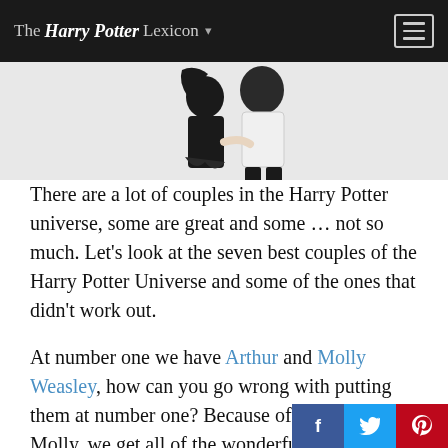The Harry Potter Lexicon
[Figure (illustration): Partial illustration of two figures (couple) in black and white anime/cartoon style, cropped at the top of the content area.]
There are a lot of couples in the Harry Potter universe, some are great and some … not so much. Let's look at the seven best couples of the Harry Potter Universe and some of the ones that didn't work out.
At number one we have Arthur and Molly Weasley, how can you go wrong with putting them at number one? Because of Arthur and Molly, we get all of the wonderful Weasley children. At number two we have Ron and